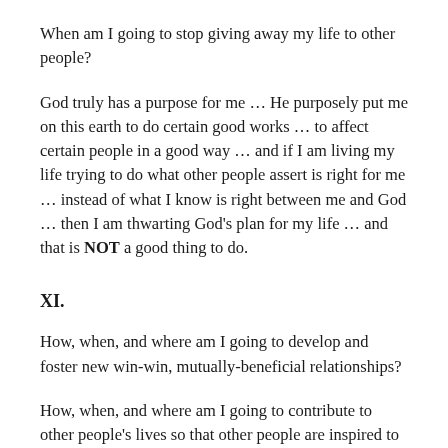When am I going to stop giving away my life to other people?
God truly has a purpose for me … He purposely put me on this earth to do certain good works … to affect certain people in a good way … and if I am living my life trying to do what other people assert is right for me … instead of what I know is right between me and God … then I am thwarting God's plan for my life … and that is NOT a good thing to do.
XI.
How, when, and where am I going to develop and foster new win-win, mutually-beneficial relationships?
How, when, and where am I going to contribute to other people's lives so that other people are inspired to